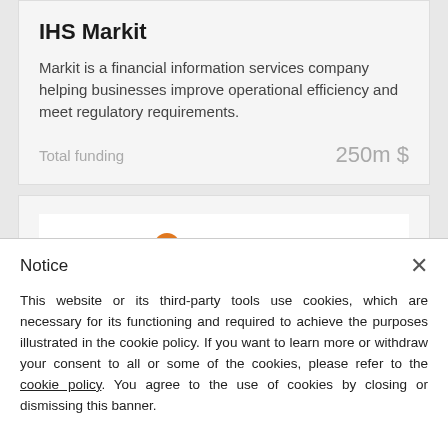IHS Markit
Markit is a financial information services company helping businesses improve operational efficiency and meet regulatory requirements.
Total funding   250m $
[Figure (logo): Money Forward logo — orange circular arrow icon followed by 'Money Forward' text in grey and orange]
Money Forward
Notice
This website or its third-party tools use cookies, which are necessary for its functioning and required to achieve the purposes illustrated in the cookie policy. If you want to learn more or withdraw your consent to all or some of the cookies, please refer to the cookie policy. You agree to the use of cookies by closing or dismissing this banner.